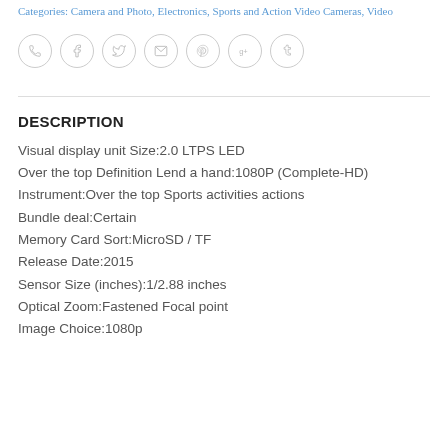Categories: Camera and Photo, Electronics, Sports and Action Video Cameras, Video
[Figure (other): Row of 7 social sharing icon circles: phone, Facebook, Twitter, email, Pinterest, Google+, Tumblr]
DESCRIPTION
Visual display unit Size:2.0 LTPS LED
Over the top Definition Lend a hand:1080P (Complete-HD)
Instrument:Over the top Sports activities actions
Bundle deal:Certain
Memory Card Sort:MicroSD / TF
Release Date:2015
Sensor Size (inches):1/2.88 inches
Optical Zoom:Fastened Focal point
Image Choice:1080p